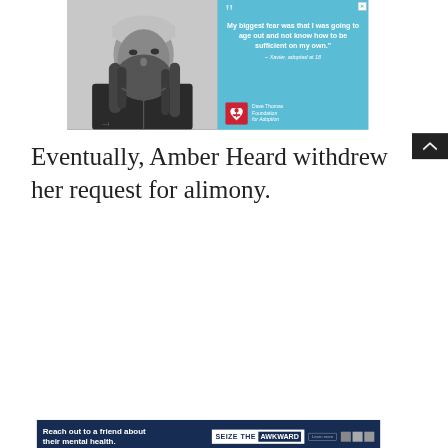[Figure (photo): Advertisement from Dave Thomas Foundation for Adoption. Left half: black and white photo of a young man with long dreadlocks, beard, wearing a beanie hat and jacket. Right half: teal/blue background with large quotation marks and text quote.]
My biggest fear was that I was going to age out and not know how to be sufficient on my own."
– Xavier, adopted at 18
[Figure (logo): Dave Thomas Foundation for Adoption logo - red square with white figure/person icon]
Dave Thomas Foundation for Adoption
Eventually, Amber Heard withdrew her request for alimony.
[Figure (infographic): Bottom advertisement banner: dark navy background with text 'Reach out to a friend about their mental health.' and 'SEIZE THE AWKWARD' branding with Learn more button and partner logos.]